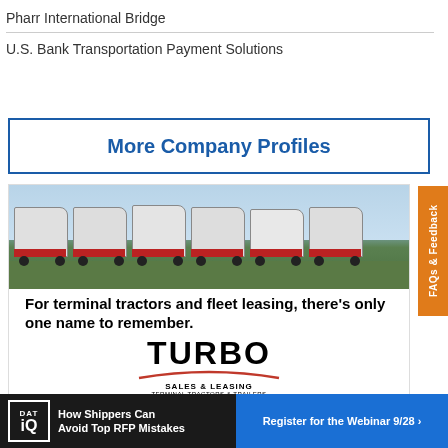Pharr International Bridge
U.S. Bank Transportation Payment Solutions
More Company Profiles
[Figure (advertisement): Turbo Sales & Leasing advertisement showing terminal tractors/yard trucks lined up in a parking lot with tagline: For terminal tractors and fleet leasing, there's only one name to remember. TURBO SALES & LEASING TERMINAL TRACTORS & TRAILERS]
[Figure (advertisement): DAT iQ banner ad: How Shippers Can Avoid Top RFP Mistakes - Register for the Webinar 9/28]